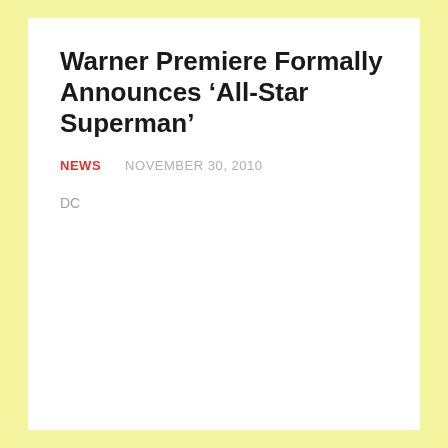Warner Premiere Formally Announces ‘All-Star Superman’
NEWS   NOVEMBER 30, 2010
DC